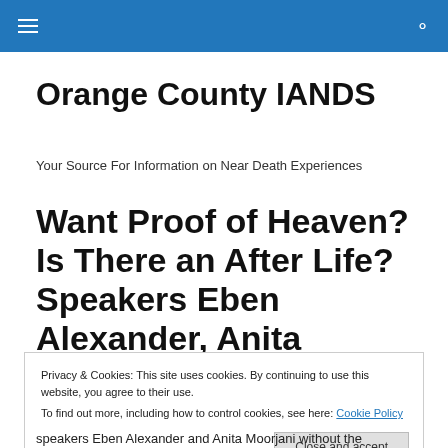Orange County IANDS — navigation header bar
Orange County IANDS
Your Source For Information on Near Death Experiences
Want Proof of Heaven? Is There an After Life? Speakers Eben Alexander, Anita
Privacy & Cookies: This site uses cookies. By continuing to use this website, you agree to their use.
To find out more, including how to control cookies, see here: Cookie Policy
speakers Eben Alexander and Anita Moorjani without the